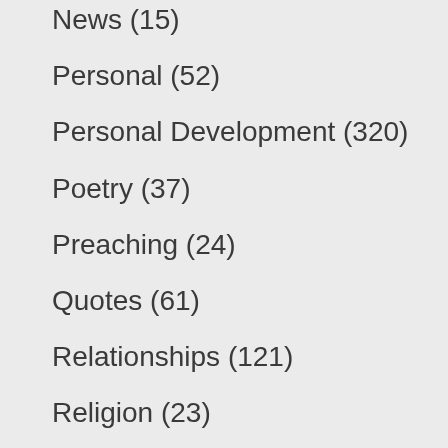News (15)
Personal (52)
Personal Development (320)
Poetry (37)
Preaching (24)
Quotes (61)
Relationships (121)
Religion (23)
Science (14)
Soul Food (54)
Special Events (81)
Spirituality (175)
Sports (13)